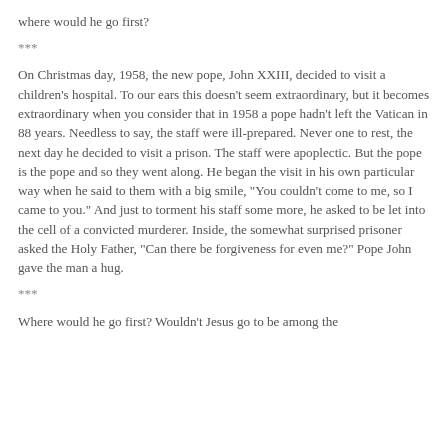where would he go first?
***
On Christmas day, 1958, the new pope, John XXIII, decided to visit a children's hospital. To our ears this doesn't seem extraordinary, but it becomes extraordinary when you consider that in 1958 a pope hadn't left the Vatican in 88 years. Needless to say, the staff were ill-prepared. Never one to rest, the next day he decided to visit a prison. The staff were apoplectic. But the pope is the pope and so they went along. He began the visit in his own particular way when he said to them with a big smile, "You couldn't come to me, so I came to you." And just to torment his staff some more, he asked to be let into the cell of a convicted murderer. Inside, the somewhat surprised prisoner asked the Holy Father, "Can there be forgiveness for even me?" Pope John gave the man a hug.
***
Where would he go first? Wouldn't Jesus go to be among the